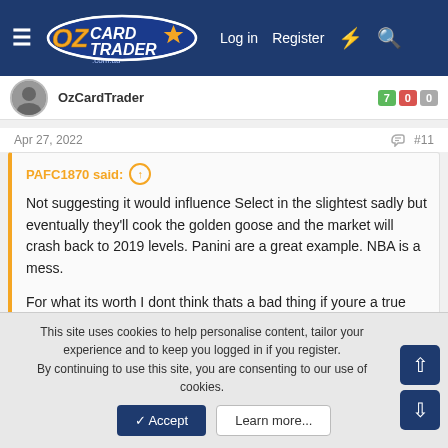OzCardTrader — Log in  Register
OzCardTrader  7  0  0
Apr 27, 2022  #11
PAFC1870 said: ↑

Not suggesting it would influence Select in the slightest sadly but eventually they'll cook the golden goose and the market will crash back to 2019 levels. Panini are a great example. NBA is a mess.

For what its worth I dont think thats a bad thing if youre a true collector and genuinely love cards.
This site uses cookies to help personalise content, tailor your experience and to keep you logged in if you register.
By continuing to use this site, you are consenting to our use of cookies.